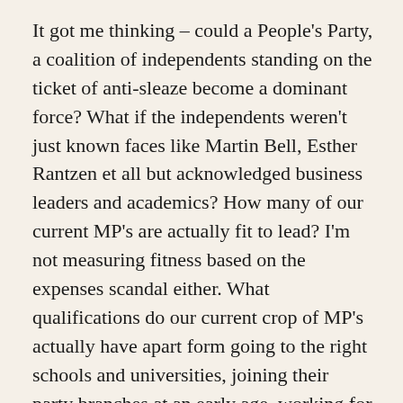It got me thinking – could a People's Party, a coalition of independents standing on the ticket of anti-sleaze become a dominant force? What if the independents weren't just known faces like Martin Bell, Esther Rantzen et all but acknowledged business leaders and academics? How many of our current MP's are actually fit to lead? I'm not measuring fitness based on the expenses scandal either. What qualifications do our current crop of MP's actually have apart form going to the right schools and universities, joining their party branches at an early age, working for former MP's as researchers etc. Where's the business acumen, the proven leadership? Sadly lacking